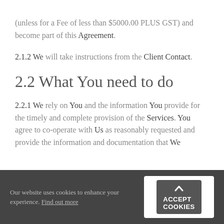(unless for a Fee of less than $5000.00 PLUS GST) and become part of this Agreement.
2.1.2 We will take instructions from the Client Contact.
2.2 What You need to do
2.2.1 We rely on You and the information You provide for the timely and complete provision of the Services. You agree to co-operate with Us as reasonably requested and provide the information and documentation that We
Our website uses cookies to enhance your experience. Find out more